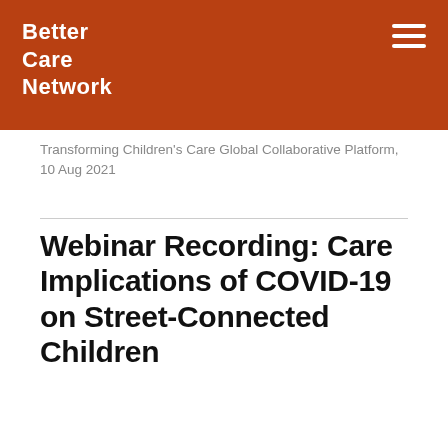Better Care Network
Transforming Children's Care Global Collaborative Platform, 10 Aug 2021
Webinar Recording: Care Implications of COVID-19 on Street-Connected Children
View Video
… Webinar Recording: Care Implications of COVID-19 on Street-Connected Children Webinar Recording: Care Implications of